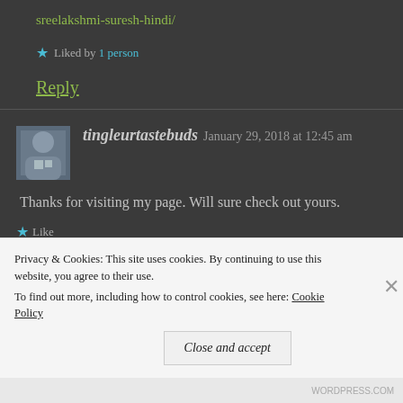sreelakshmi-suresh-hindi/
Liked by 1 person
Reply
tingleurtastebuds  January 29, 2018 at 12:45 am
Thanks for visiting my page. Will sure check out yours.
Like
Privacy & Cookies: This site uses cookies. By continuing to use this website, you agree to their use. To find out more, including how to control cookies, see here: Cookie Policy
Close and accept